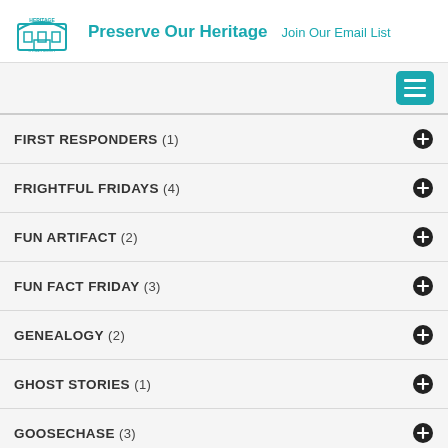Preserve Our Heritage   Join Our Email List
FIRST RESPONDERS (1)
FRIGHTFUL FRIDAYS (4)
FUN ARTIFACT (2)
FUN FACT FRIDAY (3)
GENEALOGY (2)
GHOST STORIES (1)
GOOSECHASE (3)
GREAT WESTERN RAILWAY (1)